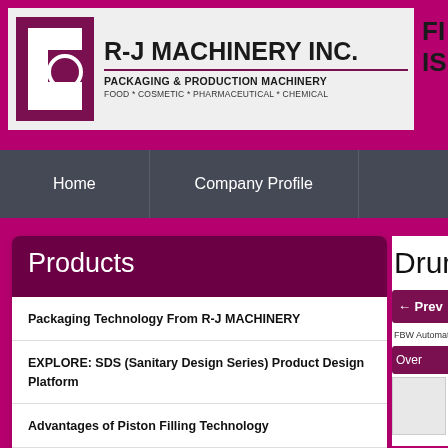[Figure (logo): R-J Machinery Inc. logo — stylized letter mark in dark maroon/purple on square background]
R-J MACHINERY INC.
PACKAGING & PRODUCTION MACHINERY
FOOD * COSMETIC * PHARMACEUTICAL * CHEMICAL
[Figure (screenshot): Partially visible right-side header text reading 'FI' and 'IS']
Home
Company Profile
Products
Drums
Packaging Technology From R-J MACHINERY
EXPLORE: SDS (Sanitary Design Series) Product Design Platform
Advantages of Piston Filling Technology
Prev
FBW Automat
Over